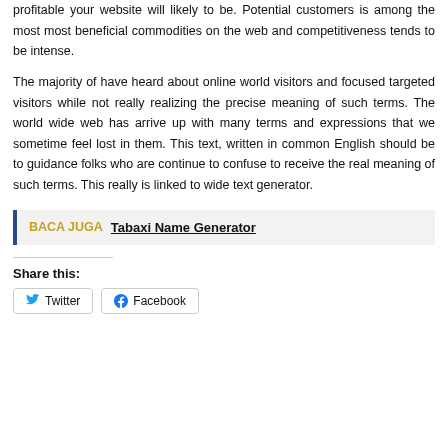profitable your website will likely to be. Potential customers is among the most most beneficial commodities on the web and competitiveness tends to be intense.
The majority of have heard about online world visitors and focused targeted visitors while not really realizing the precise meaning of such terms. The world wide web has arrive up with many terms and expressions that we sometime feel lost in them. This text, written in common English should be to guidance folks who are continue to confuse to receive the real meaning of such terms. This really is linked to wide text generator.
BACA JUGA  Tabaxi Name Generator
Share this:
Twitter
Facebook